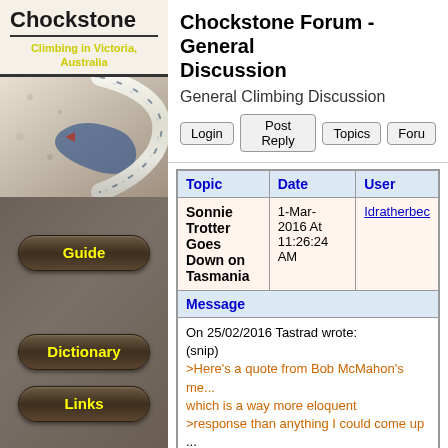Chockstone
Climbing in Victoria, Australia
[Figure (photo): Rope image on sidebar background with Australian map]
Guide
Dictionary
Links
Chockstone Forum - General Discussion
General Climbing Discussion
| Topic | Date | User |
| --- | --- | --- |
| Sonnie Trotter Goes Down on Tasmania | 1-Mar-2016 At 11:26:24 AM | Idratherbec... |
| Message |
| --- |
| On 25/02/2016 Tastrad wrote:
(snip)
>Here's a quote from Bob McMahon's me... which is a way more eloquent
>response than anything I could come up ...

>A climb is something which has taken place on a piece of rock and ... |
On 25/02/2016 Tastrad wrote:
(snip)
>Here's a quote from Bob McMahon's me... which is a way more eloquent
>response than anything I could come up ...
>A climb is something which has taken place on a piece of rock and changed...